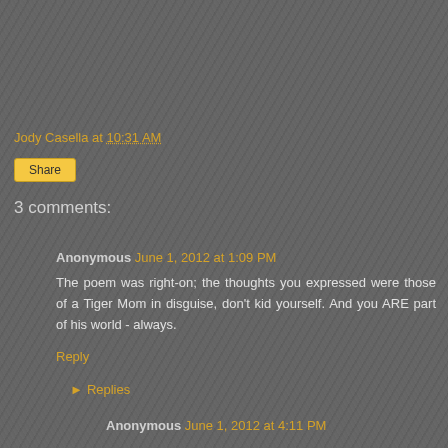Jody Casella at 10:31 AM
Share
3 comments:
Anonymous June 1, 2012 at 1:09 PM
The poem was right-on; the thoughts you expressed were those of a Tiger Mom in disguise, don't kid yourself. And you ARE part of his world - always.
Reply
Replies
Anonymous June 1, 2012 at 4:11 PM